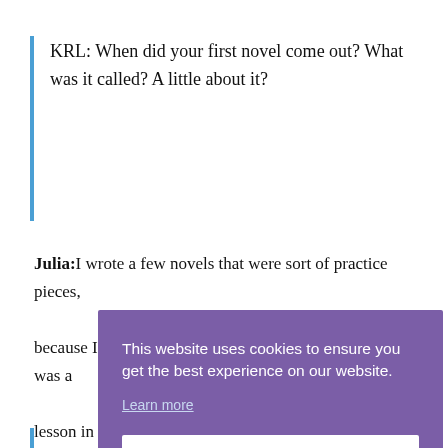KRL: When did your first novel come out? What was it called? A little about it?
Julia:I wrote a few novels that were sort of practice pieces, because I never went to school for writing. Every novel was a lesson in itself, and this continues to be true. My first pub[lished] sus[pense] The[…] a sh[ort…] is n[ot…]
[Figure (screenshot): Cookie consent overlay with purple background. Text: 'This website uses cookies to ensure you get the best experience on our website.' with a 'Learn more' link and a white 'Got it' button.]